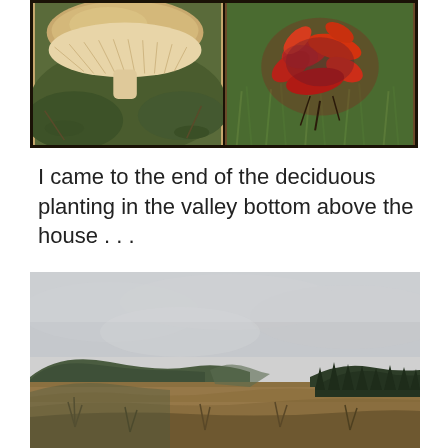[Figure (photo): Top photo collage showing two nature close-up photos side by side: left shows underside of a mushroom cap with tan/cream gills on mossy ground, right shows red autumn leaves/plant among green grass]
I came to the end of the deciduous planting in the valley bottom above the house . . .
[Figure (photo): Landscape panorama photo of an open valley with dried brown heather/grass in the foreground, rolling hills on the left, a conifer forest line on the right, and an overcast grey sky]